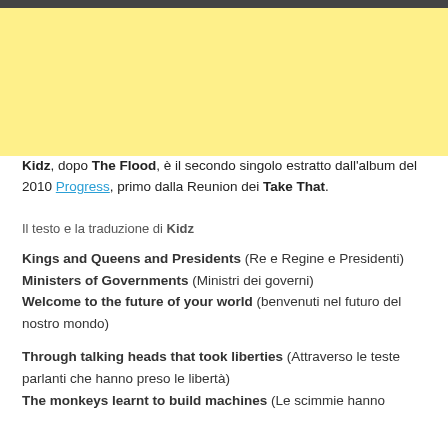[Figure (other): Yellow rectangular banner/image block at top of page]
Kidz, dopo The Flood, è il secondo singolo estratto dall'album del 2010 Progress, primo dalla Reunion dei Take That.
Il testo e la traduzione di Kidz
Kings and Queens and Presidents (Re e Regine e Presidenti)
Ministers of Governments (Ministri dei governi)
Welcome to the future of your world (benvenuti nel futuro del nostro mondo)
Through talking heads that took liberties (Attraverso le teste parlanti che hanno preso le libertà)
The monkeys learnt to build machines (Le scimmie hanno